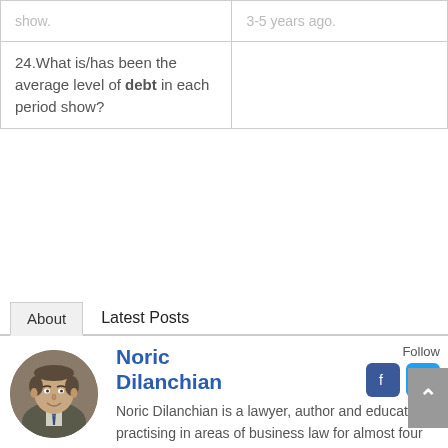| Question | Response |
| --- | --- |
| show. | 3-5 years ago. |
| 24.What is/has been the average level of debt in each period show? |  |
About | Latest Posts
[Figure (photo): Circular portrait photo of Noric Dilanchian, a middle-aged man in a suit with a striped tie, smiling]
Noric Dilanchian
Follow
Noric Dilanchian is a lawyer, author and educator practising in areas of business law for almost four decades, with a focus on contract drafting and review, and the commercialisation of content, technology, digital assets and intellectual property. Linked In | YouTube